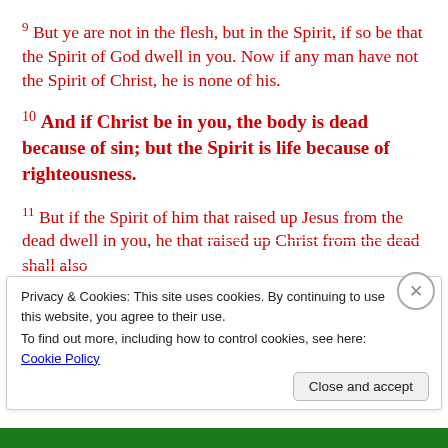9 But ye are not in the flesh, but in the Spirit, if so be that the Spirit of God dwell in you. Now if any man have not the Spirit of Christ, he is none of his.
10 And if Christ be in you, the body is dead because of sin; but the Spirit is life because of righteousness.
11 But if the Spirit of him that raised up Jesus from the dead dwell in you, he that raised up Christ from the dead shall also
Privacy & Cookies: This site uses cookies. By continuing to use this website, you agree to their use. To find out more, including how to control cookies, see here: Cookie Policy